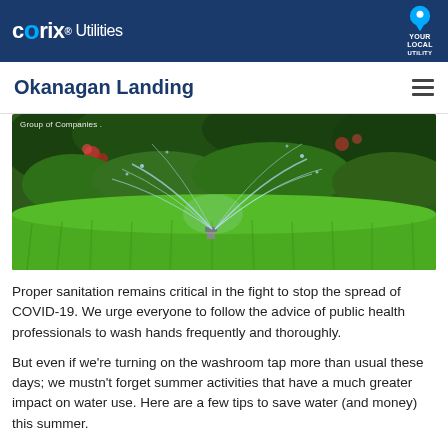CORIX Utilities — Your Local Utility
Okanagan Landing
[Figure (photo): A lawn sprinkler spraying water over lush green grass with plants and foliage in the background. A watermark reads 'Group of Companies'.]
Proper sanitation remains critical in the fight to stop the spread of COVID-19. We urge everyone to follow the advice of public health professionals to wash hands frequently and thoroughly.
But even if we're turning on the washroom tap more than usual these days; we mustn't forget summer activities that have a much greater impact on water use. Here are a few tips to save water (and money) this summer.